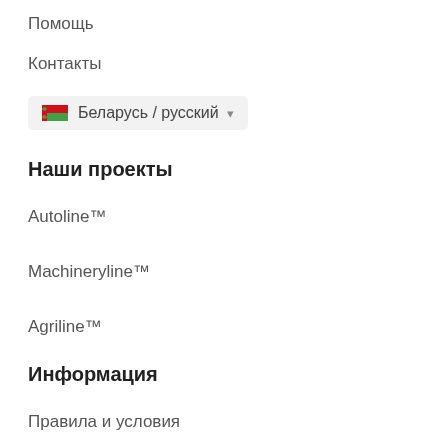Помощь
Контакты
Беларусь / русский
Наши проекты
Autoline™
Machineryline™
Agriline™
Информация
Правила и условия
Политика конфиденциальности
Советы по безопасности
Отзывы о Machineryline